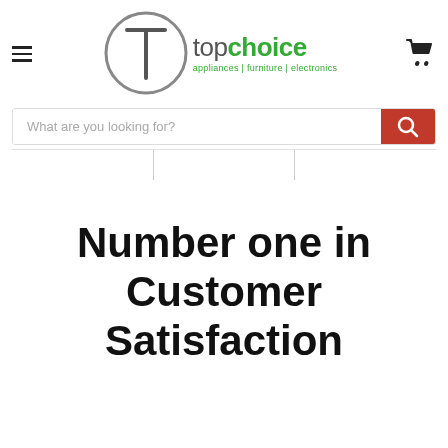[Figure (logo): Top Choice appliances | furniture | electronics logo with circular T symbol in gray and green text]
What are you looking for?
Number one in Customer Satisfaction